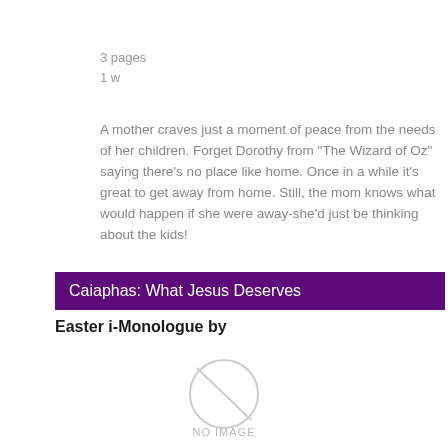3 pages
1 w
A mother craves just a moment of peace from the needs of her children. Forget Dorothy from "The Wizard of Oz" saying there's no place like home. Once in a while it's great to get away from home. Still, the mom knows what would happen if she were away-she'd just be thinking about the kids!
Caiaphas: What Jesus Deserves
Easter i-Monologue by
[Figure (other): No image placeholder with circular icon and text 'NO IMAGE']